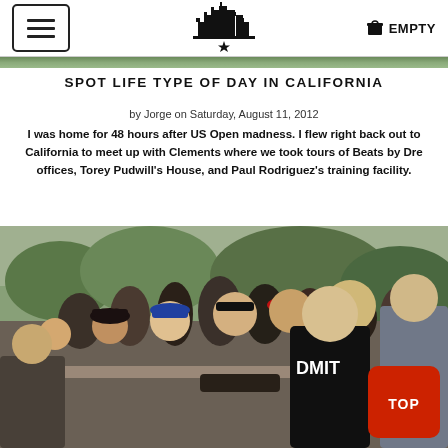Menu | Logo | EMPTY cart
SPOT LIFE TYPE OF DAY IN CALIFORNIA
by Jorge on Saturday, August 11, 2012
I was home for 48 hours after US Open madness. I flew right back out to California to meet up with Clements where we took tours of Beats by Dre offices, Torey Pudwill's House, and Paul Rodriguez's training facility.
[Figure (photo): Crowd of young people at an outdoor skate event, several wearing DMIT branded black t-shirts, gathered around a table with skateboards, trees visible in background]